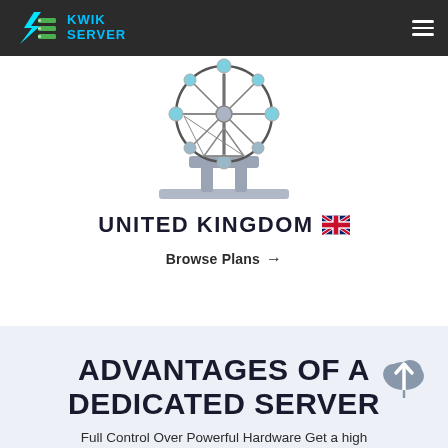KWIK SERVER
[Figure (illustration): Ferris wheel / London Eye style outline illustration with teal/blue accent orbs]
UNITED KINGDOM 🇬🇧
Browse Plans →
ADVANTAGES OF A DEDICATED SERVER
Full Control Over Powerful Hardware Get a high